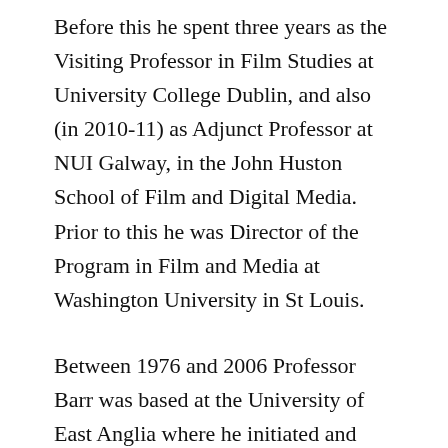Before this he spent three years as the Visiting Professor in Film Studies at University College Dublin, and also (in 2010-11) as Adjunct Professor at NUI Galway, in the John Huston School of Film and Digital Media. Prior to this he was Director of the Program in Film and Media at Washington University in St Louis.
Between 1976 and 2006 Professor Barr was based at the University of East Anglia where he initiated and played a key role in developing one of the UK's leading centres for Film and TV Studies at undergraduate and graduate level.
Much of Professor Barr's recent work has centred on